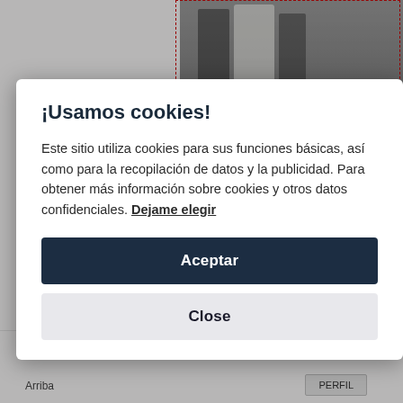[Figure (screenshot): Background webpage screenshot showing a left column layout and a photo of people in formal wear on the right side, with dotted red borders]
¡Usamos cookies!
Este sitio utiliza cookies para sus funciones básicas, así como para la recopilación de datos y la publicidad. Para obtener más información sobre cookies y otros datos confidenciales. Dejame elegir
Aceptar
Close
Arriba
PERFIL